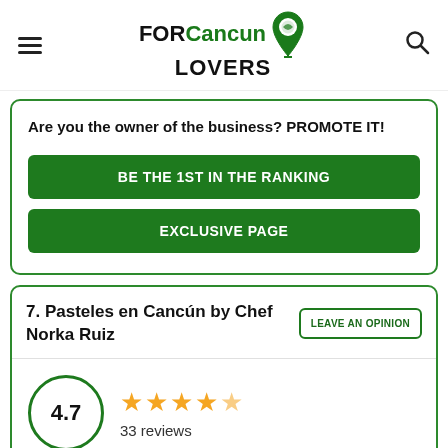FOR Cancun LOVERS
Are you the owner of the business? PROMOTE IT!
BE THE 1ST IN THE RANKING
EXCLUSIVE PAGE
7. Pasteles en Cancún by Chef Norka Ruiz
LEAVE AN OPINION
4.7 — 33 reviews